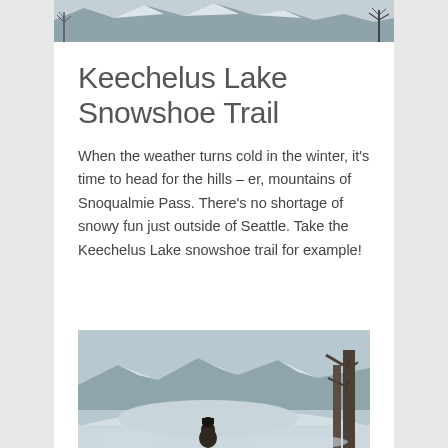[Figure (photo): Top banner photo of a snowy winter landscape with bare trees]
Keechelus Lake Snowshoe Trail
When the weather turns cold in the winter, it's time to head for the hills – er, mountains of Snoqualmie Pass. There's no shortage of snowy fun just outside of Seattle. Take the Keechelus Lake snowshoe trail for example!
[Figure (photo): Photo of a person in a winter hat standing in a snowy landscape with mountains and trees in the background]